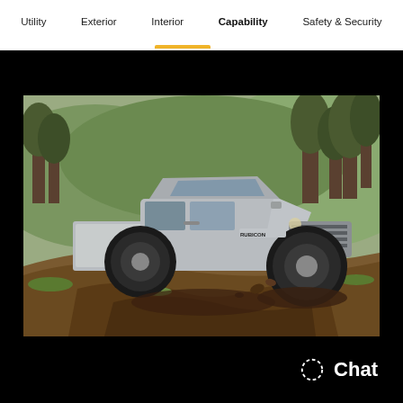Utility  Exterior  Interior  Capability  Safety & Security
[Figure (photo): Jeep Gladiator Rubicon silver pickup truck driving through muddy off-road terrain on a grassy hillside with trees in background]
Chat